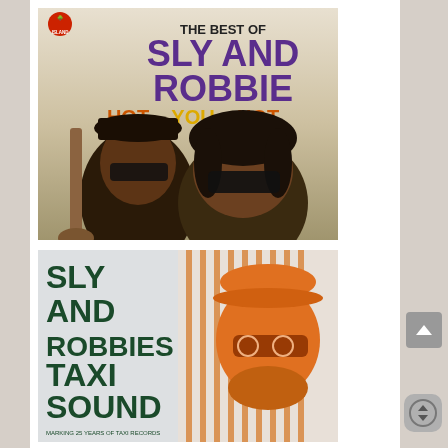[Figure (illustration): Album cover for 'The Best of Sly and Robbie - Hot You Hot' on Island Records. Shows two men wearing sunglasses, one holding a bass guitar, against a light background. Title text in purple and orange/yellow.]
[Figure (illustration): Album cover for 'Sly and Robbie's Taxi Sound - Marking 25 Years of Taxi Records'. Shows stylized orange graphic of a figure wearing a hat and sunglasses, with dark green text on left side.]